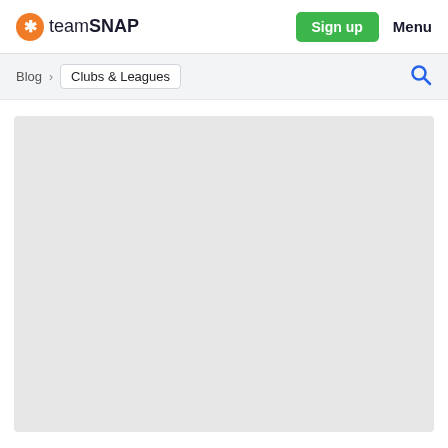teamSNAP — Sign up — Menu
Blog > Clubs & Leagues
[Figure (screenshot): Large light gray placeholder image area below the breadcrumb navigation]